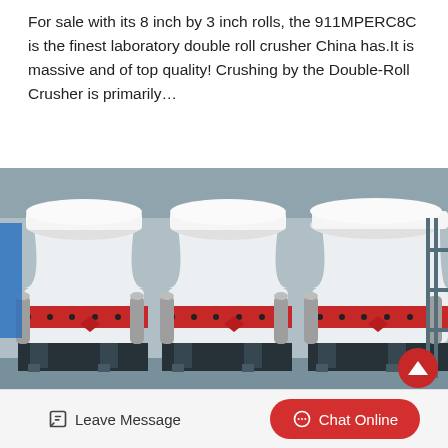For sale with its 8 inch by 3 inch rolls, the 911MPERC8C is the finest laboratory double roll crusher China has.It is massive and of top quality! Crushing by the Double-Roll Crusher is primarily…
[Figure (photo): Three large white industrial cone crushers with red accent bands, cylindrical hydraulic accumulators, and black steel frames, photographed in a factory/warehouse setting.]
Leave Message
Chat Online